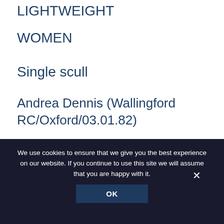LIGHTWEIGHT
WOMEN
Single scull
Andrea Dennis (Wallingford RC/Oxford/03.01.82)
Double scull
Helen Casey (Wallingford RC/Oxford/6.2.74)/ Hester Goodsell (Rob Roy/Cambridge/27.6.84)
We use cookies to ensure that we give you the best experience on our website. If you continue to use this site we will assume that you are happy with it.